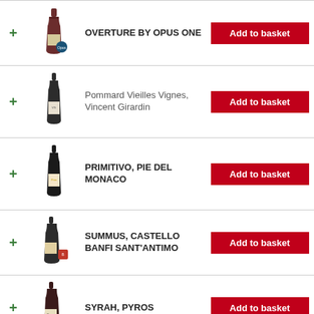|  | Image | Name | Action |
| --- | --- | --- | --- |
| + | [bottle] | OVERTURE BY OPUS ONE | Add to basket |
| + | [bottle] | Pommard Vieilles Vignes, Vincent Girardin | Add to basket |
| + | [bottle] | PRIMITIVO, PIE DEL MONACO | Add to basket |
| + | [bottle] | SUMMUS, CASTELLO BANFI SANT'ANTIMO | Add to basket |
| + | [bottle] | SYRAH, PYROS | Add to basket |
Best From The World